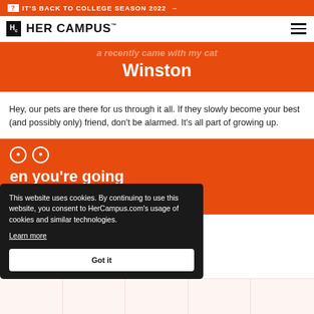IT'S BACK TO COLLEGE SEASON 2022 →
[Figure (logo): Her Campus logo with Hc logomark and text HER CAMPUS]
...a recently came with my cat Winston
Hey, our pets are there for us through it all. If they slowly become your best (and possibly only) friend, don't be alarmed. It's all part of growing up.
...en you're going ...wift-like range of
This website uses cookies. By continuing to use this website, you consent to HerCampus.com's usage of cookies and similar technologies. Learn more Got it